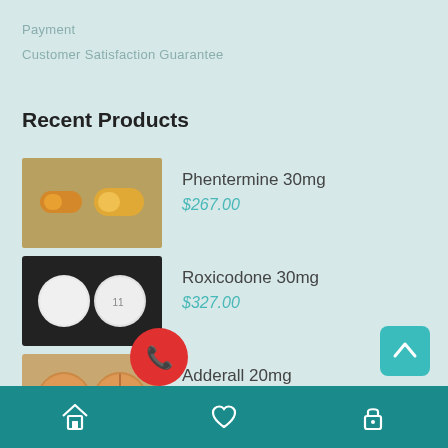Payment
Customer Satisfaction Guarantee
Recent Products
Phentermine 30mg
$267.00
Roxicodone 30mg
$327.00
Adderall 20mg
$367.00
Oxycontin OP 60mg
$337.00
Testimonials
Home | Wishlist | Account